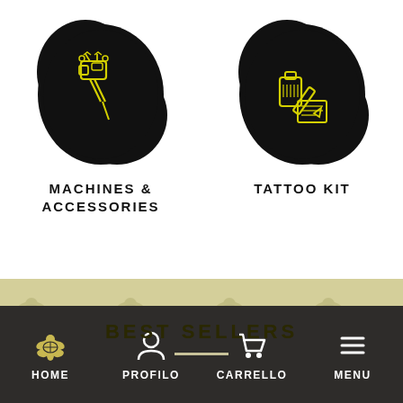[Figure (illustration): Black blob/hexagon shape with yellow outline icon of a tattoo machine]
MACHINES & ACCESSORIES
[Figure (illustration): Black blob/hexagon shape with yellow outline icon of tattoo ink and pen/pencil]
TATTOO KIT
BEST SELLERS
HOME  PROFILO  CARRELLO  MENU